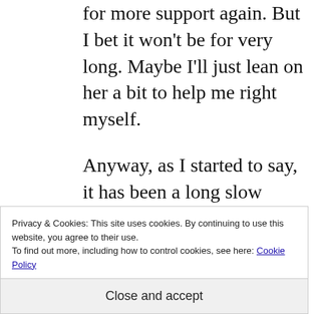for more support again. But I bet it won't be for very long. Maybe I'll just lean on her a bit to help me right myself.
Anyway, as I started to say, it has been a long slow process. Your process can be slow too. It can take however long you need it to take.
Privacy & Cookies: This site uses cookies. By continuing to use this website, you agree to their use.
To find out more, including how to control cookies, see here: Cookie Policy
Close and accept